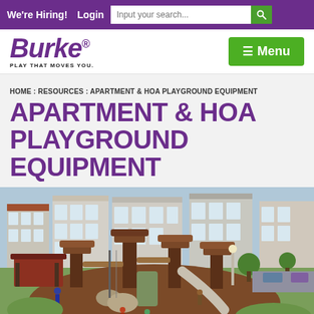We're Hiring!  Login  Input your search...
[Figure (logo): Burke logo with tagline PLAY THAT MOVES YOU, and green Menu button]
HOME : RESOURCES : APARTMENT & HOA PLAYGROUND EQUIPMENT
APARTMENT & HOA PLAYGROUND EQUIPMENT
[Figure (photo): Aerial view of a residential playground with wood and nature-themed play structures, slides, and climbing elements, surrounded by townhouses and green lawns.]